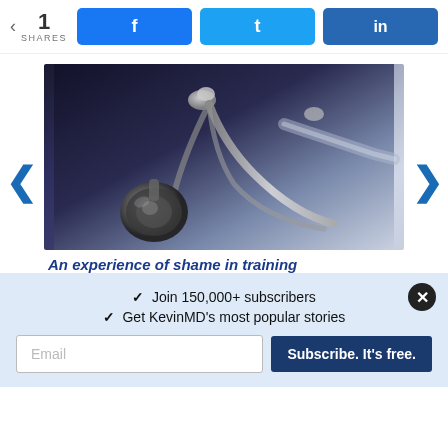< 1 SHARES
f  t  in (social share buttons)
[Figure (photo): Close-up photo of a stethoscope on a dark surface with blurred background]
An experience of shame in training
✓  Join 150,000+ subscribers
✓  Get KevinMD's most popular stories
Email  Subscribe. It's free.